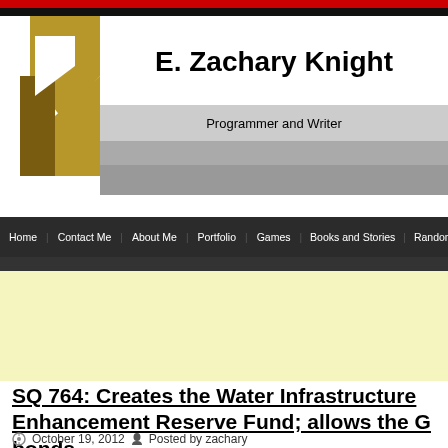E. Zachary Knight — Programmer and Writer
[Figure (logo): Gold and brown K-shaped logo with diagonal shapes on white background]
E. Zachary Knight
Programmer and Writer
Home | Contact Me | About Me | Portfolio | Games | Books and Stories | Random
SQ 764: Creates the Water Infrastructure Enhancement Reserve Fund; allows the G bonds
October 19, 2012   Posted by zachary